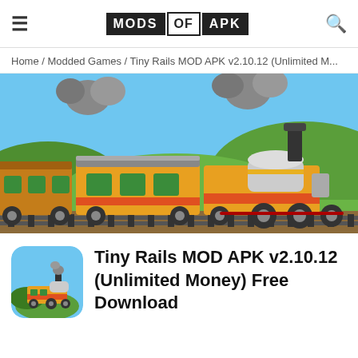MODS OF APK
Home / Modded Games / Tiny Rails MOD APK v2.10.12 (Unlimited M...
[Figure (screenshot): Pixel art game screenshot showing a colorful steam train with yellow and orange cars against a green and blue sky background]
Tiny Rails MOD APK v2.10.12 (Unlimited Money) Free Download